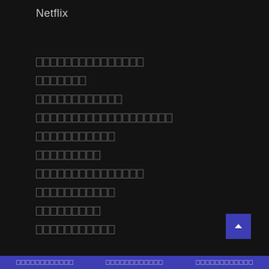Netflix
[menu item 1 - redacted/encoded text]
[menu item 2 - redacted/encoded text]
[menu item 3 - redacted/encoded text]
[menu item 4 - redacted/encoded text]
[menu item 5 - redacted/encoded text]
[menu item 6 - redacted/encoded text]
[menu item 7 - redacted/encoded text]
[menu item 8 - redacted/encoded text]
[menu item 9 - redacted/encoded text]
[menu item 10 - redacted/encoded text]
[footer content - redacted/encoded text]